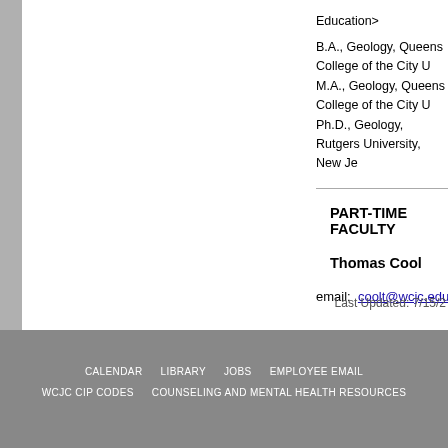Education>
B.A., Geology, Queens College of the City U
M.A., Geology, Queens College of the City U
Ph.D., Geology, Rutgers University, New Je
PART-TIME FACULTY
Thomas Cool
email:  coolt@wcjc.edu
Last Updated: 7/15/2
CALENDAR   LIBRARY   JOBS   EMPLOYEE EMAIL   WCJC CIP CODES   COUNSELING AND MENTAL HEALTH RESOURCES